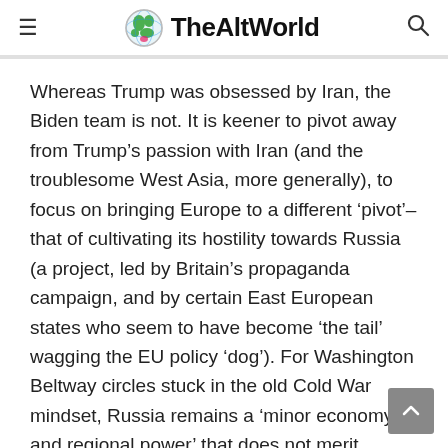TheAltWorld
Whereas Trump was obsessed by Iran, the Biden team is not. It is keener to pivot away from Trump’s passion with Iran (and the troublesome West Asia, more generally), to focus on bringing Europe to a different ‘pivot’– that of cultivating its hostility towards Russia (a project, led by Britain’s propaganda campaign, and by certain East European states who seem to have become ‘the tail’ wagging the EU policy ‘dog’). For Washington Beltway circles stuck in the old Cold War mindset, Russia remains a ‘minor economy and regional power’ that does not merit America’s full attention – unlike China, which is a